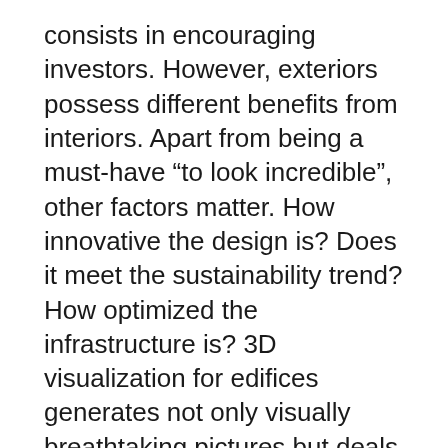consists in encouraging investors. However, exteriors possess different benefits from interiors. Apart from being a must-have “to look incredible”, other factors matter. How innovative the design is? Does it meet the sustainability trend? How optimized the infrastructure is? 3D visualization for edifices generates not only visually breathtaking pictures but deals with all questions pointed out above.
With the help of 3D modeling software, architectural engineers can accurately visualize the quality of materials, improve the challenging math as well as systems like transportation, plumbing, electricity, and so on. Consequently, architectural demos with CG exterior modeling visuals look brightly convincing to investors that intend to get